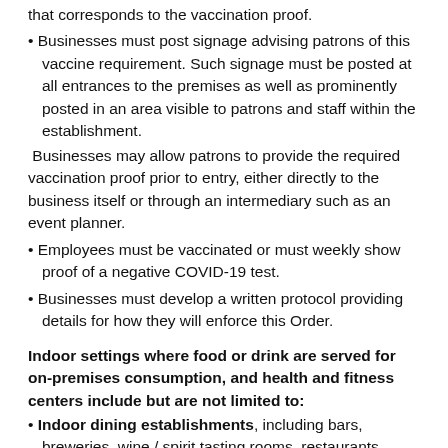that corresponds to the vaccination proof.
Businesses must post signage advising patrons of this vaccine requirement. Such signage must be posted at all entrances to the premises as well as prominently posted in an area visible to patrons and staff within the establishment.
Businesses may allow patrons to provide the required vaccination proof prior to entry, either directly to the business itself or through an intermediary such as an event planner.
Employees must be vaccinated or must weekly show proof of a negative COVID-19 test.
Businesses must develop a written protocol providing details for how they will enforce this Order.
Indoor settings where food or drink are served for on-premises consumption, and health and fitness centers include but are not limited to:
Indoor dining establishments, including bars, breweries, wine / spirit tasting rooms, restaurants, private clubs, country clubs, banquet halls, dining areas within any public business that is ancillary to the main business (cafes within grocery stores, other retail, etc.) coffee shops, food courts and food halls;
Event spaces, including hotel ballrooms and commercial